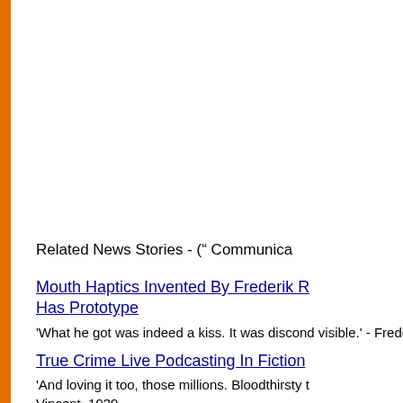Related News Stories - (" Communica
Mouth Haptics Invented By Frederik R Has Prototype
'What he got was indeed a kiss. It was discond visible.' - Frederik Pohl, 1965.
True Crime Live Podcasting In Fiction 'And loving it too, those millions. Bloodthirsty t Vincent, 1939.